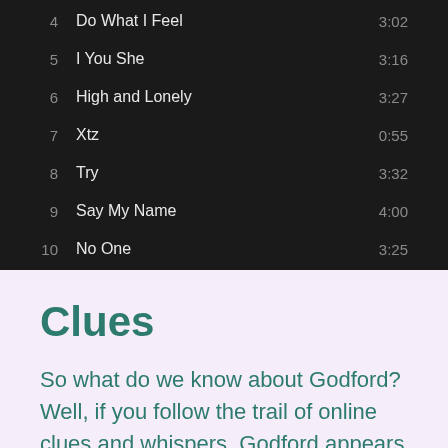| # | Title | Duration |
| --- | --- | --- |
| 4 | Do What I Feel | 3:02 |
| 5 | I You She | 3:16 |
| 6 | High and Lonely | 3:27 |
| 7 | Xtz | 0:55 |
| 8 | Try | 3:32 |
| 9 | Say My Name | 4:00 |
| 10 | No One | 3:25 |
Clues
So what do we know about Godford? Well, if you follow the trail of online clues and whispers, Godford appears to be the alias of a successful French electronic artist. You can tell from the